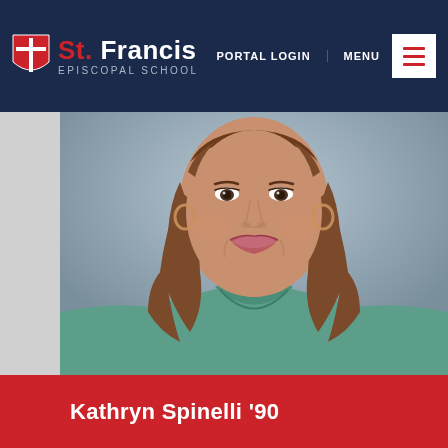St. Francis Episcopal School – Portal Login | Menu
[Figure (photo): Portrait photo of a smiling woman with brown shoulder-length hair, wearing a teal/green top and small necklace, photographed from chest up against a gray background.]
Kathryn Spinelli '90